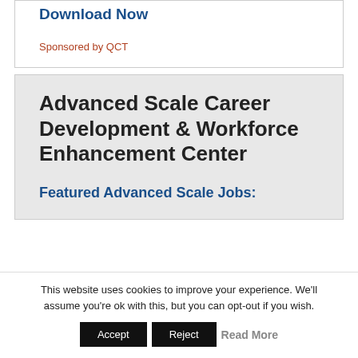Download Now
Sponsored by QCT
Advanced Scale Career Development & Workforce Enhancement Center
Featured Advanced Scale Jobs:
This website uses cookies to improve your experience. We'll assume you're ok with this, but you can opt-out if you wish.
Accept | Reject | Read More